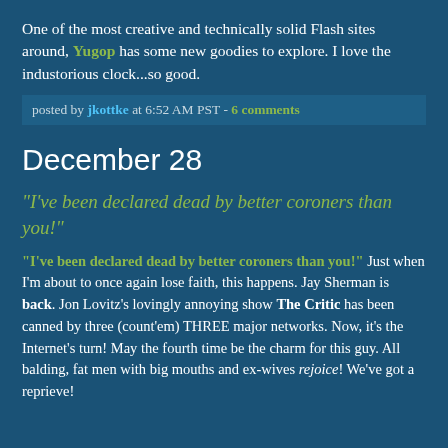One of the most creative and technically solid Flash sites around, Yugop has some new goodies to explore. I love the industorious clock...so good.
posted by jkottke at 6:52 AM PST - 6 comments
December 28
"I've been declared dead by better coroners than you!"
"I've been declared dead by better coroners than you!" Just when I'm about to once again lose faith, this happens. Jay Sherman is back. Jon Lovitz's lovingly annoying show The Critic has been canned by three (count'em) THREE major networks. Now, it's the Internet's turn! May the fourth time be the charm for this guy. All balding, fat men with big mouths and ex-wives rejoice! We've got a reprieve!